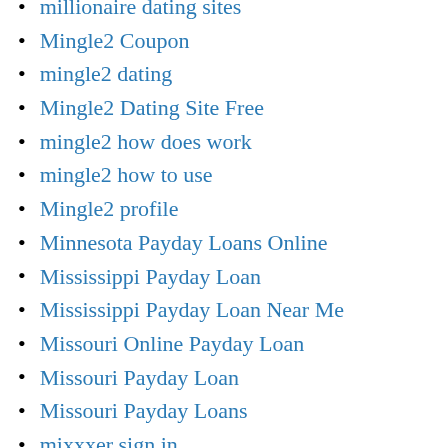millionaire dating sites
Mingle2 Coupon
mingle2 dating
Mingle2 Dating Site Free
mingle2 how does work
mingle2 how to use
Mingle2 profile
Minnesota Payday Loans Online
Mississippi Payday Loan
Mississippi Payday Loan Near Me
Missouri Online Payday Loan
Missouri Payday Loan
Missouri Payday Loans
mixxxer sign in
mo payday loan
MOB Tips